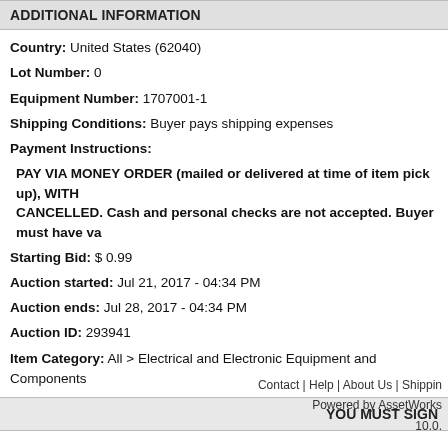ADDITIONAL INFORMATION
Country:   United States (62040)
Lot Number:   0
Equipment Number:   1707001-1
Shipping Conditions:   Buyer pays shipping expenses
Payment Instructions:
PAY VIA MONEY ORDER (mailed or delivered at time of item pick up), WITH CANCELLED. Cash and personal checks are not accepted. Buyer must have va
Starting Bid:   $ 0.99
Auction started:   Jul 21, 2017 - 04:34 PM
Auction ends:   Jul 28, 2017 - 04:34 PM
Auction ID:   293941
Item Category:   All > Electrical and Electronic Equipment and Components
YOU MUST SIGN
Contact | Help | About Us | Shippin
Powered by AssetWorks
10.0.